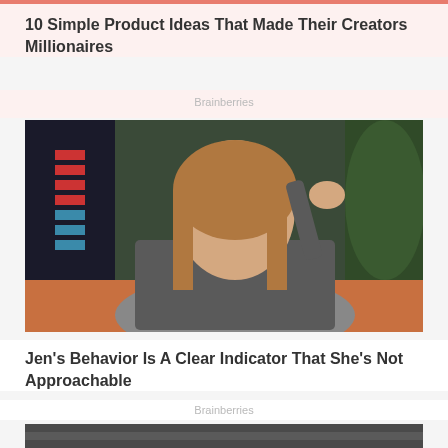10 Simple Product Ideas That Made Their Creators Millionaires
Brainberries
[Figure (photo): Woman with blonde hair sitting on a couch with hand raised to her head, wearing a grey ribbed long-sleeve top, in a TV talk show setting]
Jen's Behavior Is A Clear Indicator That She's Not Approachable
Brainberries